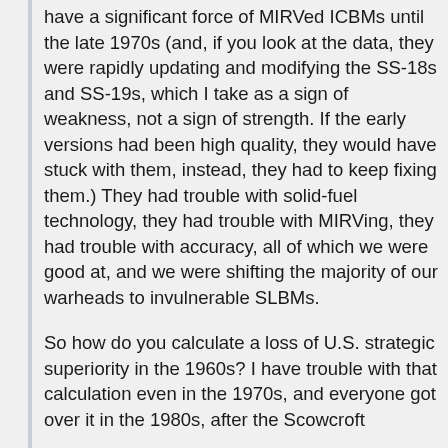have a significant force of MIRVed ICBMs until the late 1970s (and, if you look at the data, they were rapidly updating and modifying the SS-18s and SS-19s, which I take as a sign of weakness, not a sign of strength. If the early versions had been high quality, they would have stuck with them, instead, they had to keep fixing them.) They had trouble with solid-fuel technology, they had trouble with MIRVing, they had trouble with accuracy, all of which we were good at, and we were shifting the majority of our warheads to invulnerable SLBMs.
So how do you calculate a loss of U.S. strategic superiority in the 1960s? I have trouble with that calculation even in the 1970s, and everyone got over it in the 1980s, after the Scowcroft